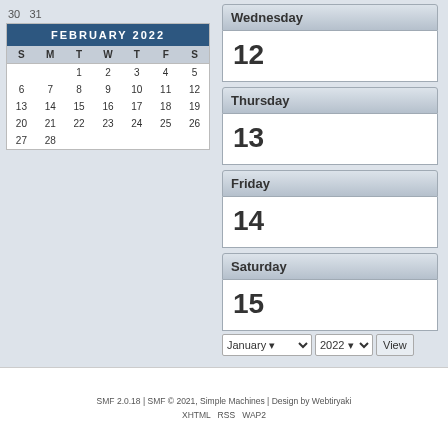30  31
| S | M | T | W | T | F | S |
| --- | --- | --- | --- | --- | --- | --- |
|  |  | 1 | 2 | 3 | 4 | 5 |
| 6 | 7 | 8 | 9 | 10 | 11 | 12 |
| 13 | 14 | 15 | 16 | 17 | 18 | 19 |
| 20 | 21 | 22 | 23 | 24 | 25 | 26 |
| 27 | 28 |  |  |  |  |  |
Wednesday
12
Thursday
13
Friday
14
Saturday
15
SMF 2.0.18 | SMF © 2021, Simple Machines | Design by Webtiryaki
XHTML  RSS  WAP2